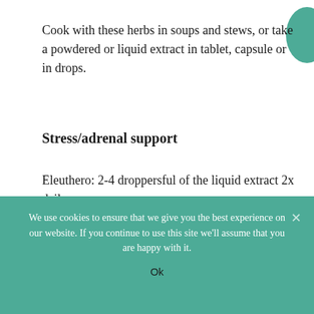Cook with these herbs in soups and stews, or take a powdered or liquid extract in tablet, capsule or in drops.
Stress/adrenal support
Eleuthero: 2-4 droppersful of the liquid extract 2x daily
We use cookies to ensure that we give you the best experience on our website. If you continue to use this site we'll assume that you are happy with it.
Ok